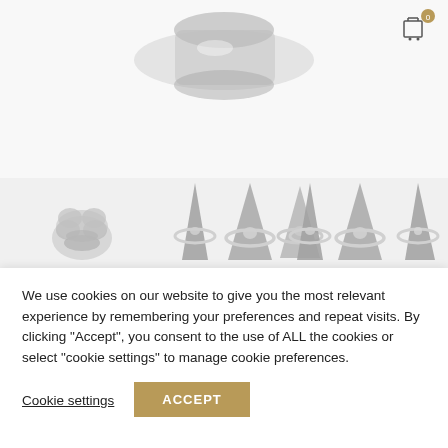[Figure (photo): Partial view of a silver ring at the top of the page, cropped, on white background]
[Figure (photo): Shopping cart icon with badge showing 0 in top right corner]
[Figure (photo): Row of four thumbnail images showing silver heart rings displayed on cone-shaped ring holders]
We use cookies on our website to give you the most relevant experience by remembering your preferences and repeat visits. By clicking "Accept", you consent to the use of ALL the cookies or select "cookie settings" to manage cookie preferences.
Cookie settings
ACCEPT